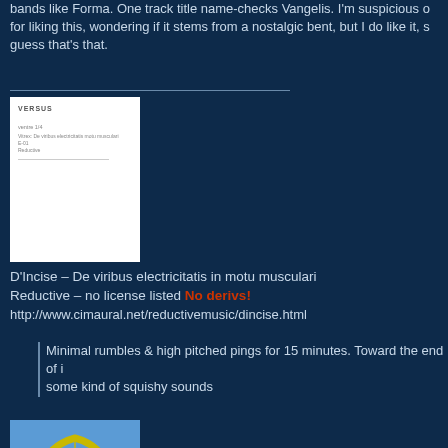bands like Forma. One track title name-checks Vangelis. I'm suspicious of myself for liking this, wondering if it stems from a nostalgic bent, but I do like it, so I guess that's that.
[Figure (photo): Album cover for D'Incise - De viribus electricitatis in motu musculari, white background with small text]
D'Incise – De viribus electricitatis in motu musculari
Reductive – no license listed No derivs!
http://www.cimaural.net/reductivemusic/dincise.html
Minimal rumbles & high pitched pings for 15 minutes. Toward the end of it some kind of squishy sounds
[Figure (photo): Photo of a steel arch bridge (Eucci - Dirty Modern Tapes 2013 album cover), showing metal arch structure against blue sky]
Eucci – Dirty Modern Tapes 2013
self released – CC BY NC SA Derivs allowed!